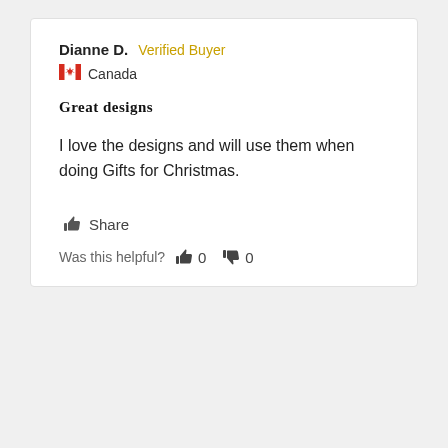Dianne D. Verified Buyer
🇨🇦 Canada
Great designs
I love the designs and will use them when doing Gifts for Christmas.
Share
Was this helpful? 👍 0 👎 0